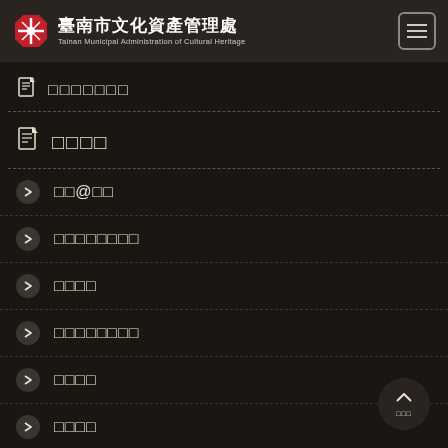臺南市文化資產管理處 Tainan Municipal Administration of Cultural Heritage
□□□□□□□
□□□□
□□@□□
□□□□□□□□
□□□□
□□□□□□□□
□□□□
□□□□